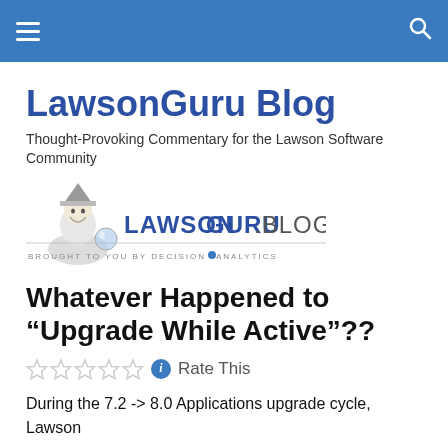Navigation bar with hamburger menu and search icon
LawsonGuru Blog
Thought-Provoking Commentary for the Lawson Software Community
[Figure (logo): LawsonGuru.Blog logo with wizard character, brought to you by Decision Analytics]
Whatever Happened to “Upgrade While Active”??
Rate This (star rating with info icon)
During the 7.2 -> 8.0 Applications upgrade cycle, Lawson